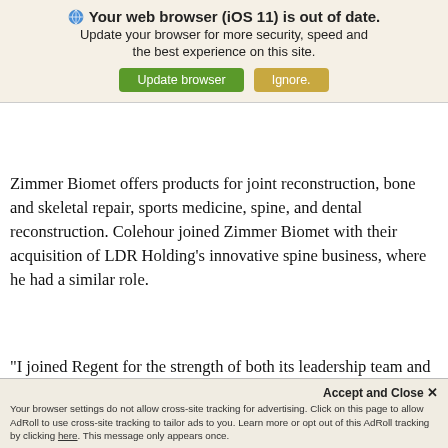[Figure (screenshot): Browser update notification banner with globe icon, bold heading 'Your web browser (iOS 11) is out of date.', subtitle text, and two buttons: green 'Update browser' and tan 'Ignore'.]
REGENT SURGICAL HEALTH
global, or...
solutions. A... healthcare,
Zimmer Biomet offers products for joint reconstruction, bone and skeletal repair, sports medicine, spine, and dental reconstruction. Colehour joined Zimmer Biomet with their acquisition of LDR Holding’s innovative spine business, where he had a similar role.
“I joined Regent for the strength of both its leadership team and culture, and I look forward to having immediate impact on the business,” Colehour says. “Longer term, I’m committed to the idea of transforming healthcare delivery and improving the
Accept and Close ×
Your browser settings do not allow cross-site tracking for advertising. Click on this page to allow AdRoll to use cross-site tracking to tailor ads to you. Learn more or opt out of this AdRoll tracking by clicking here. This message only appears once.